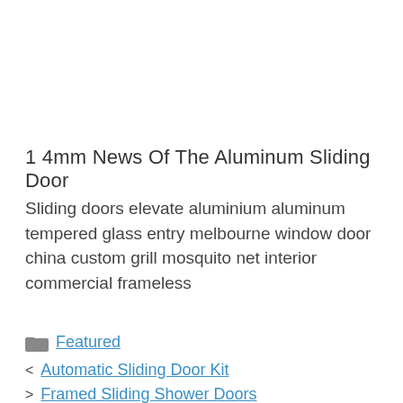1 4mm News Of The Aluminum Sliding Door
Sliding doors elevate aluminium aluminum tempered glass entry melbourne window door china custom grill mosquito net interior commercial frameless
Featured
Automatic Sliding Door Kit
Framed Sliding Shower Doors